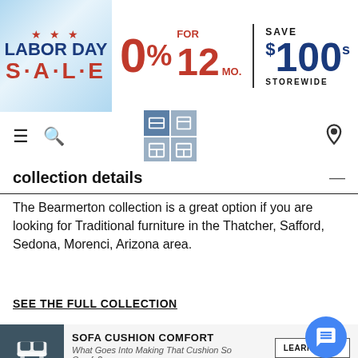[Figure (infographic): Labor Day Sale banner with red stars, blue text. Promotional offer: 0% for 12 months. Save $100's storewide.]
[Figure (infographic): Navigation bar with hamburger menu, search icon, furniture category icon grid, and location pin icon.]
collection details
The Bearmerton collection is a great option if you are looking for Traditional furniture in the Thatcher, Safford, Sedona, Morenci, Arizona area.
SEE THE FULL COLLECTION
[Figure (infographic): Info cards section with: SOFA CUSHION COMFORT - What Goes Into Making That Cushion So Comfy? [LEARN MORE]; PET FRIENDLY BUYING GUIDE - Find furniture that both you and your pet will love. [LEARN MORE]; ALLERGIES AND YOUR HOME [LEARN MORE]. Blue chat bubble button overlaid.]